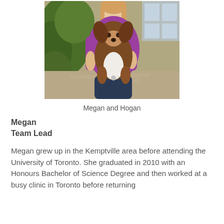[Figure (photo): A woman in a purple t-shirt holding a brown and white fluffy dog (Hogan), sitting outdoors with green foliage in the background.]
Megan and Hogan
Megan
Team Lead
Megan grew up in the Kemptville area before attending the University of Toronto. She graduated in 2010 with an Honours Bachelor of Science Degree and then worked at a busy clinic in Toronto before returning